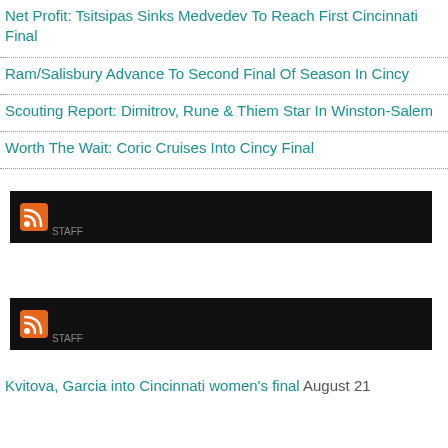Net Profit: Tsitsipas Sinks Medvedev To Reach First Cincinnati Final
Ram/Salisbury Advance To Second Final Of Season In Cincy
Scouting Report: Dimitrov, Rune & Thiem Star In Winston-Salem
Worth The Wait: Coric Cruises Into Cincy Final
[Figure (other): RSS feed bar with orange RSS icon on dark/black background]
[Figure (other): RSS feed bar with orange RSS icon on dark/black background]
Kvitova, Garcia into Cincinnati women's final August 21